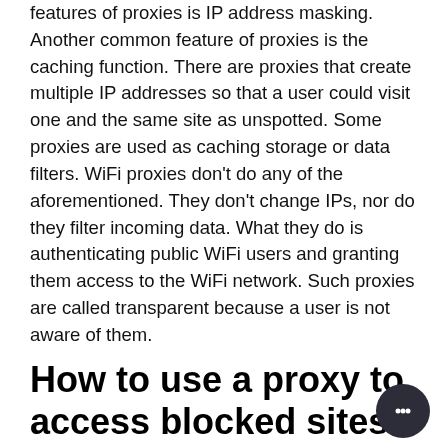features of proxies is IP address masking. Another common feature of proxies is the caching function. There are proxies that create multiple IP addresses so that a user could visit one and the same site as unspotted. Some proxies are used as caching storage or data filters. WiFi proxies don't do any of the aforementioned. They don't change IPs, nor do they filter incoming data. What they do is authenticating public WiFi users and granting them access to the WiFi network. Such proxies are called transparent because a user is not aware of them.
How to use a proxy to access blocked sites?
One of the great benefits of using a proxy is that it allows you to access blocked content. For instance, you can't watch a cool YouTube video or visit a foreign news site. There is no need to collect your belongings and move. Just install a proxy on your gadget. The specific guidelines depending on which